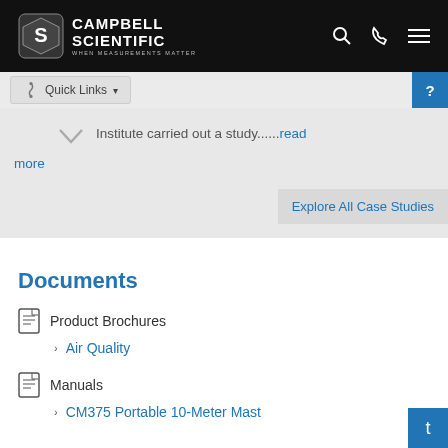Campbell Scientific — When Measurements Matter
Quick Links
Institute carried out a study......read more
Explore All Case Studies
Documents
Product Brochures
Air Quality
Manuals
CM375 Portable 10-Meter Mast